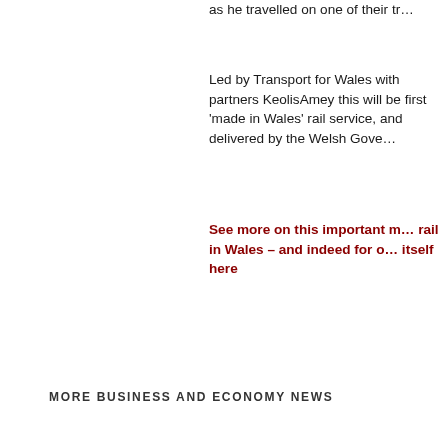as he travelled on one of their tr…
Led by Transport for Wales with partners KeolisAmey this will be first 'made in Wales' rail service, and delivered by the Welsh Gove…
See more on this important m… rail in Wales – and indeed for o… itself here
MORE BUSINESS AND ECONOMY NEWS